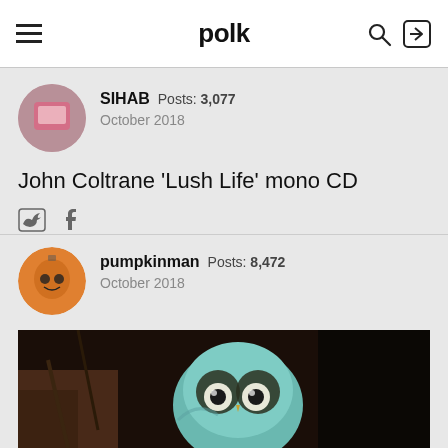polk
SIHAB  Posts: 3,077
October 2018
John Coltrane 'Lush Life' mono CD
pumpkinman  Posts: 8,472
October 2018
[Figure (photo): Close-up photo of a ceramic or painted owl figurine with large eyes, light blue/teal coloring, set against a dark background]